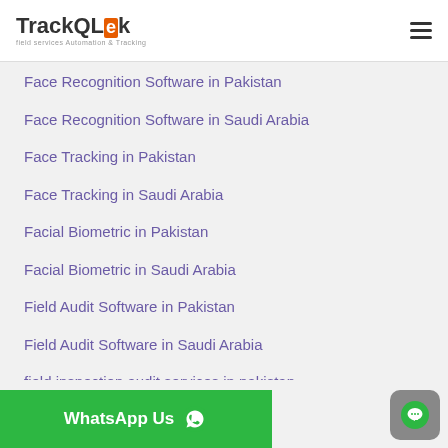TrackQLek - field services Automation & Tracking
Face Recognition Software in Pakistan
Face Recognition Software in Saudi Arabia
Face Tracking in Pakistan
Face Tracking in Saudi Arabia
Facial Biometric in Pakistan
Facial Biometric in Saudi Arabia
Field Audit Software in Pakistan
Field Audit Software in Saudi Arabia
field inspection audit services in pakistan
Field Service Software in Saudi Arabia
Fleet Tracking in Pakistan
Fleet Tracking in Saudi Arabia
Geofencing Software in Pakistan
WhatsApp Us